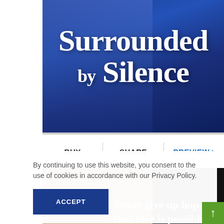[Figure (illustration): Book cover showing 'Surrounded by Silence' title in large white serif font on dark blue background with a figure in a suit]
BUY | SHARE | PREVIEW >
[Figure (illustration): Second book cover with black background, a person with head resting on hands, and text 'Never give up hope that love is possible']
By continuing to use this website, you consent to the use of cookies in accordance with our Privacy Policy.
ACCEPT